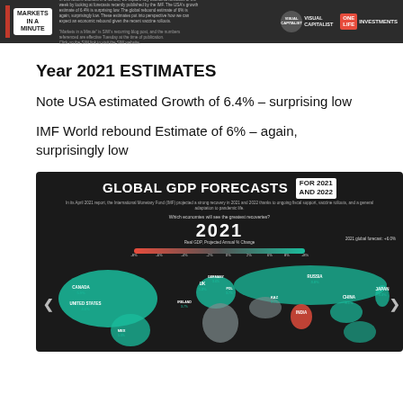Markets in a Minute | Visual Capitalist | OneLife Investments
Year 2021 ESTIMATES
Note USA estimated Growth of 6.4% – surprising low
IMF World rebound Estimate of 6% – again, surprisingly low
[Figure (infographic): Global GDP Forecasts for 2021 and 2022 infographic showing a world map with projected annual % change in Real GDP for various countries. 2021 global forecast: +6.0%. Countries labeled include Canada 5.9%, United States 4.6%, Mexico, UK 5.3%, Russia 3.8%, China 8.1%, Japan 3.3%, India, Kazakhstan 3.2%, and others across Europe and Africa.]